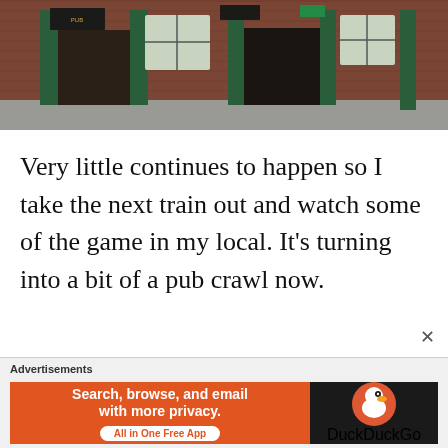[Figure (photo): Exterior of a brick pub building with green door frames, multiple white-paned windows, and a gravel forecourt.]
Very little continues to happen so I take the next train out and watch some of the game in my local. It's turning into a bit of a pub crawl now.
[Figure (photo): Exterior of a stone building with a curved corner tower, slate roof, and a single window visible, photographed from below.]
Advertisements
[Figure (infographic): DuckDuckGo advertisement banner: 'Search, browse, and email with more privacy. All in One Free App' with DuckDuckGo logo on dark background.]